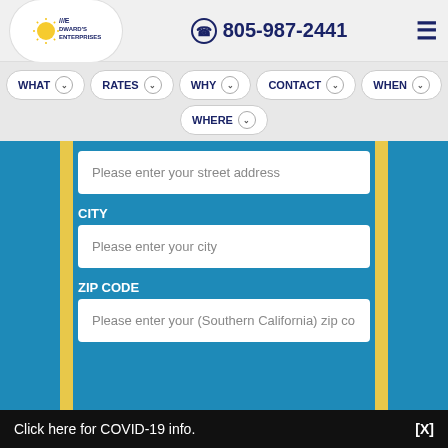[Figure (logo): Edward's Enterprises company logo with sun graphic, oval white background]
805-987-2441
≡ (hamburger menu icon)
WHAT ⊙ RATES ⊙ WHY ⊙ CONTACT ⊙ WHEN ⊙
WHERE ⊙
Please enter your street address
CITY
Please enter your city
ZIP CODE
Please enter your (Southern California) zip co
Click here for COVID-19 info.
[X]